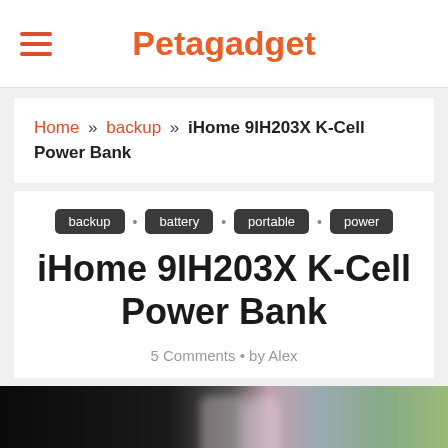Petagadget
Home » backup » iHome 9IH203X K-Cell Power Bank
backup
battery
portable
power
iHome 9IH203X K-Cell Power Bank
5 Comments • by Alex
[Figure (photo): Photo of iHome K-Cell Power Bank, dark background with blurred product and green/purple tones]